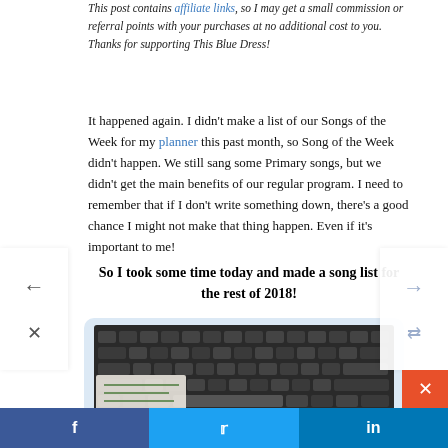This post contains affiliate links, so I may get a small commission or referral points with your purchases at no additional cost to you. Thanks for supporting This Blue Dress!
It happened again. I didn't make a list of our Songs of the Week for my planner this past month, so Song of the Week didn't happen. We still sang some Primary songs, but we didn't get the main benefits of our regular program. I need to remember that if I don't write something down, there's a good chance I might not make that thing happen. Even if it's important to me!
So I took some time today and made a song list for the rest of 2018!
[Figure (photo): A photo of a keyboard with a planner or notebook partially visible, inside a light blue rounded card.]
f  [Facebook share]    [Twitter share]    in [LinkedIn share]